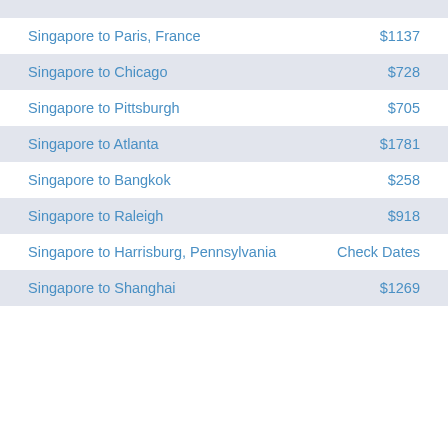| Route | Price |
| --- | --- |
| Singapore to Paris, France | $1137 |
| Singapore to Chicago | $728 |
| Singapore to Pittsburgh | $705 |
| Singapore to Atlanta | $1781 |
| Singapore to Bangkok | $258 |
| Singapore to Raleigh | $918 |
| Singapore to Harrisburg, Pennsylvania | Check Dates |
| Singapore to Shanghai | $1269 |